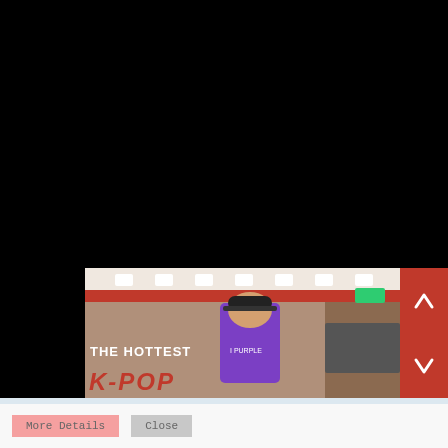[Figure (screenshot): Black background area at top of page, appears to be a website with dark background taking up majority of upper portion]
[Figure (photo): Video thumbnail showing a young man in a purple t-shirt and black cap standing in what appears to be a shopping mall or entertainment venue. Text overlay reads 'THE HOTTEST K-POP' in white and red bold lettering. Navigation arrows (up/down) on the right side in red.]
This site uses cookies. By continuing to browse this site, you are agreeing to our use of cookies.
More Details   Close